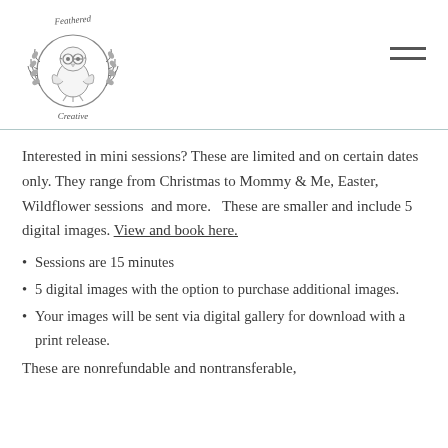[Figure (logo): Circular logo with a cute owl/chick wearing glasses, surrounded by laurel wreath branches, with handwritten text 'Feathered' at top and 'Creative' at bottom]
Interested in mini sessions? These are limited and on certain dates only. They range from Christmas to Mommy & Me, Easter, Wildflower sessions  and more.  These are smaller and include 5 digital images. View and book here.
Sessions are 15 minutes
5 digital images with the option to purchase additional images.
Your images will be sent via digital gallery for download with a print release.
These are nonrefundable and nontransferable,